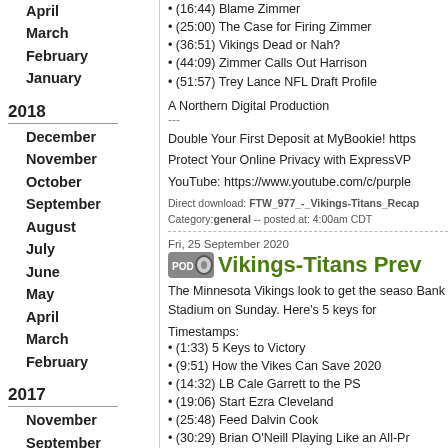April
March
February
January
2018
December
November
October
September
August
July
June
May
April
March
February
2017
November
September
August
July
June
May
April
2016
August
July
June
May
April
• (16:44) Blame Zimmer
• (25:00) The Case for Firing Zimmer
• (36:51) Vikings Dead or Nah?
• (44:09) Zimmer Calls Out Harrison
• (51:57) Trey Lance NFL Draft Profile
A Northern Digital Production
---
Double Your First Deposit at MyBookie! https
Protect Your Online Privacy with ExpressVP
YouTube: https://www.youtube.com/c/purple
Direct download: FTW_977_-_Vikings-Titans_Recap
Category:general -- posted at: 4:00am CDT
Fri, 25 September 2020
Vikings-Titans Prev
The Minnesota Vikings look to get the seaso Bank Stadium on Sunday. Here's 5 keys for
Timestamps:
• (1:33) 5 Keys to Victory
• (9:51) How the Vikes Can Save 2020
• (14:32) LB Cale Garrett to the PS
• (19:06) Start Ezra Cleveland
• (25:48) Feed Dalvin Cook
• (30:29) Brian O'Neill Playing Like an All-Pr
• (34:53) Yannick Ngakoue OWNS the Titans
A Northern Digital Production
---
Double Your First Deposit at MyBookie! https
Protect Your Online Privacy with ExpressVP